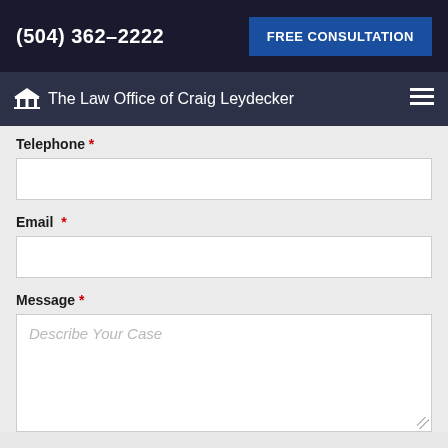(504) 362-2222
FREE CONSULTATION
The Law Office of Craig Leydecker
Telephone *
Email *
Message *
Describe Your Case